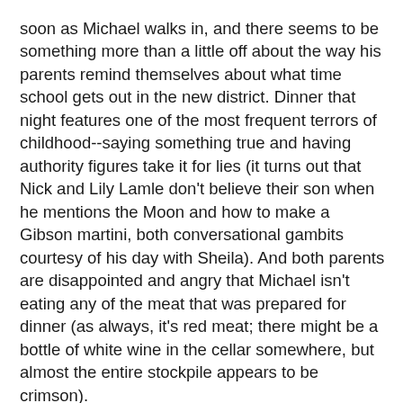soon as Michael walks in, and there seems to be something more than a little off about the way his parents remind themselves about what time school gets out in the new district. Dinner that night features one of the most frequent terrors of childhood--saying something true and having authority figures take it for lies (it turns out that Nick and Lily Lamle don't believe their son when he mentions the Moon and how to make a Gibson martini, both conversational gambits courtesy of his day with Sheila). And both parents are disappointed and angry that Michael isn't eating any of the meat that was prepared for dinner (as always, it's red meat; there might be a bottle of white wine in the cellar somewhere, but almost the entire stockpile appears to be crimson).
That night, Michael is staring at a crack in his bedroom ceiling in apprehension; when his mother tries to put his mind at ease by explaining it's a gas pipe that expanded slightly when it heated up, he responds with a recipe for the Hand of Glory (which I'm guessing his dad told him at some point). His mother takes that in stride, and does seem to genuinely love her weird and anxious son. That night he walks in on his parents, together on the floor in their